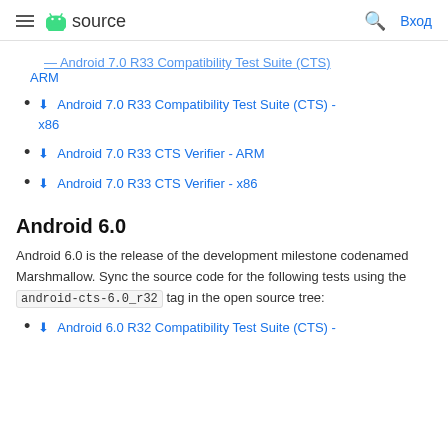≡ 🤖 source  🔍 Вход
⬇ Android 7.0 R33 Compatibility Test Suite (CTS) - ARM (truncated/partial link)
⬇ Android 7.0 R33 Compatibility Test Suite (CTS) - x86
⬇ Android 7.0 R33 CTS Verifier - ARM
⬇ Android 7.0 R33 CTS Verifier - x86
Android 6.0
Android 6.0 is the release of the development milestone codenamed Marshmallow. Sync the source code for the following tests using the android-cts-6.0_r32 tag in the open source tree:
⬇ Android 6.0 R32 Compatibility Test Suite (CTS) -